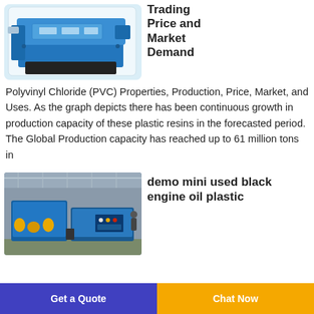[Figure (photo): Blue industrial PVC machine with extruder arms on a white background]
Trading Price and Market Demand
Polyvinyl Chloride (PVC) Properties, Production, Price, Market, and Uses. As the graph depicts there has been continuous growth in production capacity of these plastic resins in the forecasted period. The Global Production capacity has reached up to 61 million tons in
[Figure (photo): Industrial factory interior showing blue and yellow machinery on a production floor]
demo mini used black engine oil plastic
Get a Quote
Chat Now